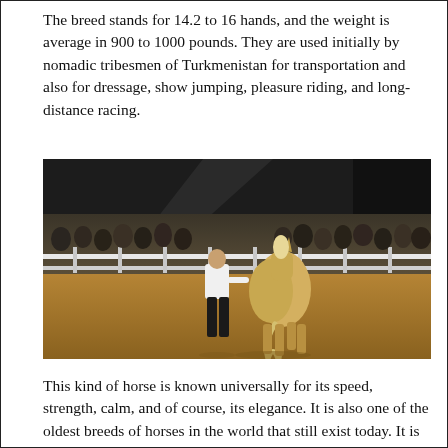The breed stands for 14.2 to 16 hands, and the weight is average in 900 to 1000 pounds. They are used initially by nomadic tribesmen of Turkmenistan for transportation and also for dressage, show jumping, pleasure riding, and long-distance racing.
[Figure (photo): A person in a white shirt and black pants walking alongside a pale golden/cream horse from behind, inside an indoor equestrian arena with spectators watching from behind a white fence railing.]
This kind of horse is known universally for its speed, strength, calm, and of course, its elegance. It is also one of the oldest breeds of horses in the world that still exist today. It is also said that the Akhal-Teke is a direct